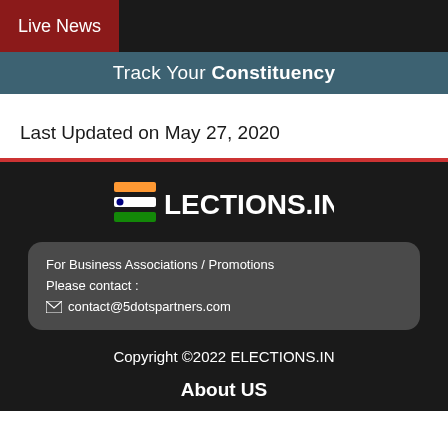Live News
Track Your Constituency
Last Updated on May 27, 2020
[Figure (logo): ELECTIONS.IN logo with Indian flag colored horizontal bars icon]
For Business Associations / Promotions
Please contact :
✉ contact@5dotspartners.com
Copyright ©2022 ELECTIONS.IN
About US